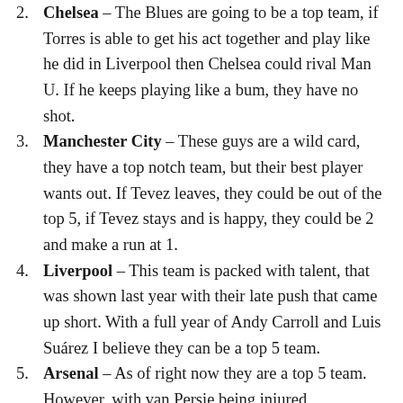2. Chelsea – The Blues are going to be a top team, if Torres is able to get his act together and play like he did in Liverpool then Chelsea could rival Man U. If he keeps playing like a bum, they have no shot.
3. Manchester City – These guys are a wild card, they have a top notch team, but their best player wants out. If Tevez leaves, they could be out of the top 5, if Tevez stays and is happy, they could be 2 and make a run at 1.
4. Liverpool – This team is packed with talent, that was shown last year with their late push that came up short. With a full year of Andy Carroll and Luis Suárez I believe they can be a top 5 team.
5. Arsenal – As of right now they are a top 5 team. However, with van Persie being injured